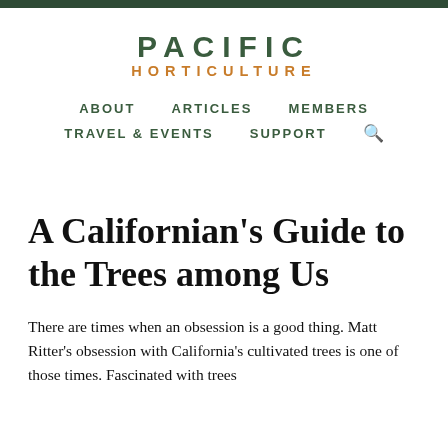PACIFIC HORTICULTURE
ABOUT   ARTICLES   MEMBERS   TRAVEL & EVENTS   SUPPORT
A Californian's Guide to the Trees among Us
There are times when an obsession is a good thing. Matt Ritter's obsession with California's cultivated trees is one of those times. Fascinated with trees